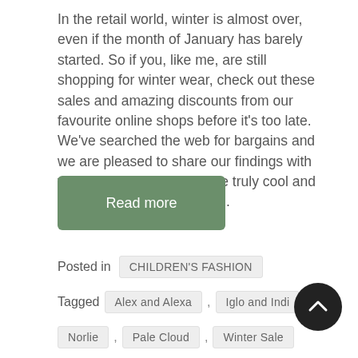In the retail world, winter is almost over, even if the month of January has barely started. So if you, like me, are still shopping for winter wear, check out these sales and amazing discounts from our favourite online shops before it's too late. We've searched the web for bargains and we are pleased to share our findings with you! Selected lines of some truly cool and unique kids brands are on...
Read more
Posted in  CHILDREN'S FASHION
Tagged  Alex and Alexa  ,  Iglo and Indi  ,  Norlie  ,  Pale Cloud  ,  Winter Sale